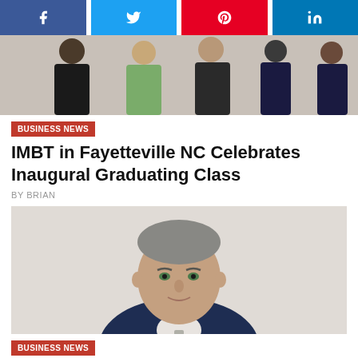[Figure (other): Social share buttons row: Facebook (blue), Twitter (light blue), Pinterest (red), LinkedIn (blue)]
[Figure (photo): Group photo of several people standing together, partially cropped]
BUSINESS NEWS
IMBT in Fayetteville NC Celebrates Inaugural Graduating Class
BY BRIAN
[Figure (photo): Professional headshot of a middle-aged man in a dark suit, smiling slightly]
BUSINESS NEWS
Todd Smith, CFP®, ChFC®, CTM®, CLTCTM President & CEO of Level 5